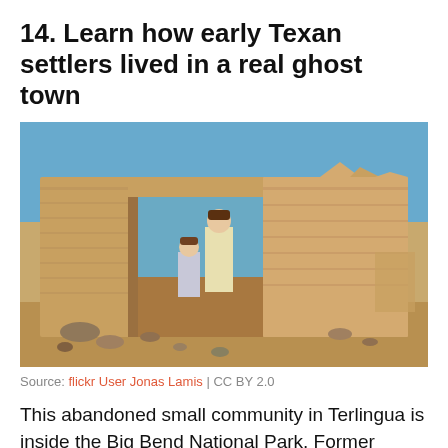14. Learn how early Texan settlers lived in a real ghost town
[Figure (photo): Two children (one shorter, one taller) standing in the doorway of an adobe/mud brick ruins structure against a bright blue sky. Sandy desert ground in foreground with scattered rocks. Part of Terlingua ghost town in Big Bend National Park, Texas.]
Source: flickr User Jonas Lamis | CC BY 2.0
This abandoned small community in Terlingua is inside the Big Bend National Park. Former miners sought after valuable minerals. Now, it's